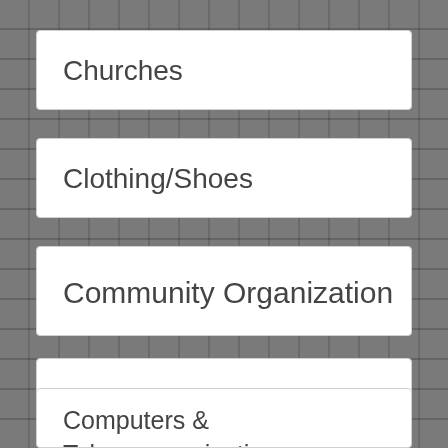Churches
Clothing/Shoes
Community Organization
Computer Service/Sales
Computers & Telecommunications